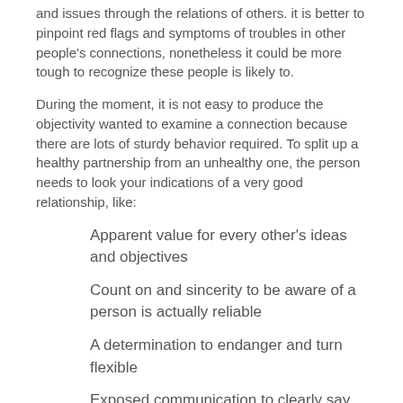and issues through the relations of others. it is better to pinpoint red flags and symptoms of troubles in other people's connections, nonetheless it could be more tough to recognize these people is likely to.
During the moment, it is not easy to produce the objectivity wanted to examine a connection because there are lots of sturdy behavior required. To split up a healthy partnership from an unhealthy one, the person needs to look your indications of a very good relationship, like:
Apparent value for every other's ideas and objectives
Count on and sincerity to be aware of a person is actually reliable
A determination to endanger and turn flexible
Exposed communication to clearly say thoughts and feelings or great hearing capabilities